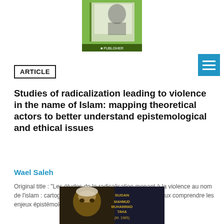[Figure (photo): Book cover image at top center, appears to show a person and green background with publisher logo]
[Figure (illustration): Blue square menu/hamburger icon button in top right corner]
ARTICLE
Studies of radicalization leading to violence in the name of Islam: mapping theoretical actors to better understand epistemological and ethical issues
Wael Saleh
Original title : "Les études de la radicalisation menant à la violence au nom de l'islam : cartographier les acteurs théoriques pour mieux comprendre les enjeux épistémologiques et éthiques" Abs...
[Figure (photo): Black and white photograph of an elderly man with text: SUDAN, MAHMUD MUHAMMAD TAHA, (M. 1985)]